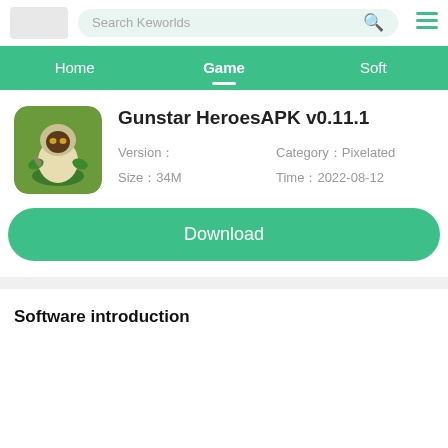Search Keworlds
Home | Game | Soft
Gunstar HeroesAPK v0.11.1
Version：	Category：Pixelated
Size：34M	Time：2022-08-12
Download
Software introduction